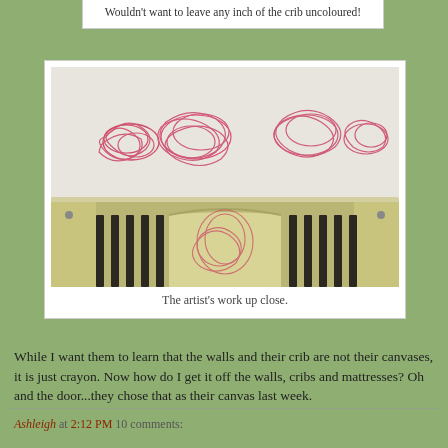Wouldn't want to leave any inch of the crib uncoloured!
[Figure (photo): Photo of a baby crib with pink/red crayon scribbles drawn all over the white wall above the crib headboard and also on the crib headboard itself.]
The artist's work up close.
While I want them to learn that the walls and their crib are not their canvases, it is just crayon. Now how do I get it off the walls, cribs and mattresses? Oh and the door...they chose that as their canvas last week.
Ashleigh at 2:12 PM    10 comments: